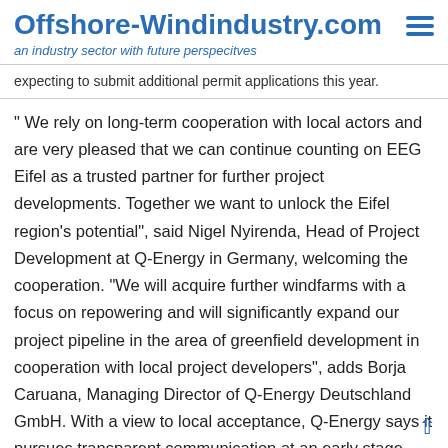Offshore-Windindustry.com
an industry sector with future perspecitves
expecting to submit additional permit applications this year.
" We rely on long-term cooperation with local actors and are very pleased that we can continue counting on EEG Eifel as a trusted partner for further project developments. Together we want to unlock the Eifel region's potential", said Nigel Nyirenda, Head of Project Development at Q-Energy in Germany, welcoming the cooperation. "We will acquire further windfarms with a focus on repowering and will significantly expand our project pipeline in the area of greenfield development in cooperation with local project developers", adds Borja Caruana, Managing Director of Q-Energy Deutschland GmbH. With a view to local acceptance, Q-Energy says it pursues transparent communication at an early stage and proactive involvement of local communities and residents in project development.